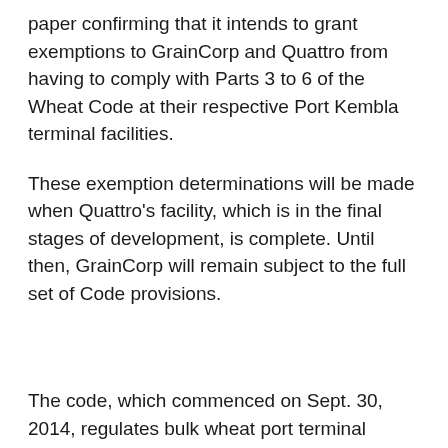paper confirming that it intends to grant exemptions to GrainCorp and Quattro from having to comply with Parts 3 to 6 of the Wheat Code at their respective Port Kembla terminal facilities.
These exemption determinations will be made when Quattro's facility, which is in the final stages of development, is complete. Until then, GrainCorp will remain subject to the full set of Code provisions.
The code, which commenced on Sept. 30, 2014, regulates bulk wheat port terminal service providers to ensure that exporters have fair and transparent access to terminal facilities. Where appropriate, the ACCC may reduce regulation at a specific port terminal by exempting the relevant port terminal service